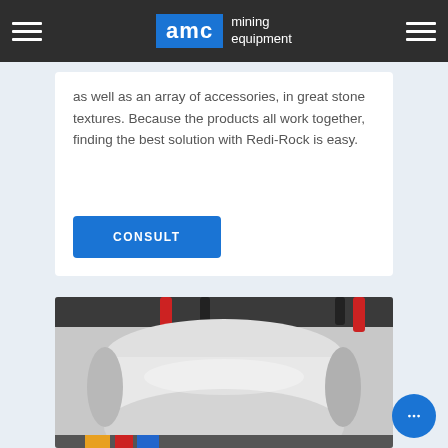AMC mining equipment
as well as an array of accessories, in great stone textures. Because the products all work together, finding the best solution with Redi-Rock is easy.
CONSULT
[Figure (photo): Close-up photo of a white cylindrical mining equipment component with red and black cables/hoses attached at the top, mounted on a machine frame with colorful elements visible at the bottom.]